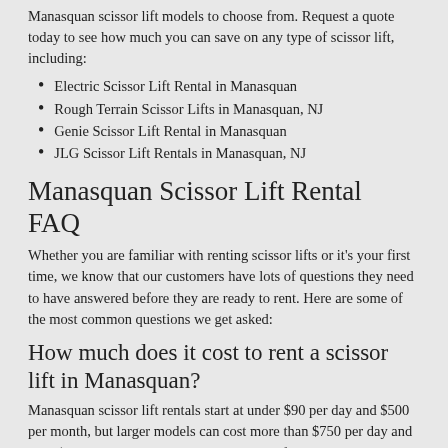Manasquan scissor lift models to choose from. Request a quote today to see how much you can save on any type of scissor lift, including:
Electric Scissor Lift Rental in Manasquan
Rough Terrain Scissor Lifts in Manasquan, NJ
Genie Scissor Lift Rental in Manasquan
JLG Scissor Lift Rentals in Manasquan, NJ
Manasquan Scissor Lift Rental FAQ
Whether you are familiar with renting scissor lifts or it's your first time, we know that our customers have lots of questions they need to have answered before they are ready to rent. Here are some of the most common questions we get asked:
How much does it cost to rent a scissor lift in Manasquan?
Manasquan scissor lift rentals start at under $90 per day and $500 per month, but larger models can cost more than $750 per day and over $3,000 per month. Pricing depends on features needed, the brand, duration of the rental and most importantly the lift height required.